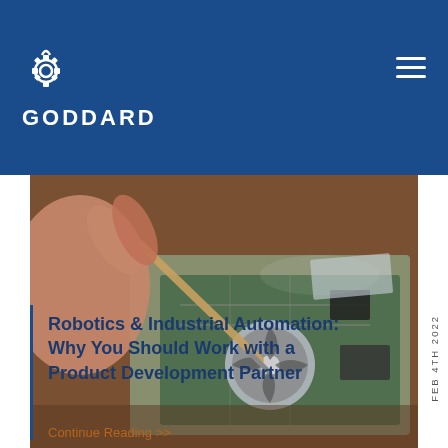GODDARD
[Figure (photo): Close-up photo of a person's hand using a screwdriver to work on disassembled electronics/circuit boards on a wooden table]
Robotics & Industrial Automation: Why You Should Work with a Product Development Partner
FEB 4TH 2022
Continue Reading >>